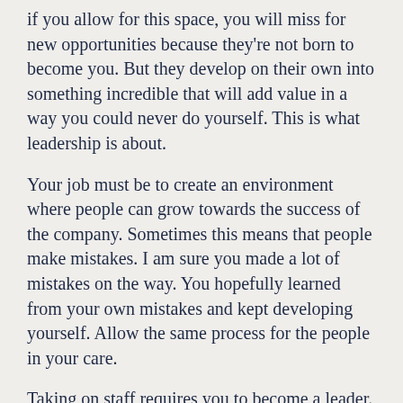if you allow for this space, you will miss for new opportunities because they're not born to become you. But they develop on their own into something incredible that will add value in a way you could never do yourself. This is what leadership is about.
Your job must be to create an environment where people can grow towards the success of the company. Sometimes this means that people make mistakes. I am sure you made a lot of mistakes on the way. You hopefully learned from your own mistakes and kept developing yourself. Allow the same process for the people in your care.
Taking on staff requires you to become a leader. Your job will change, and this change is what will make your business successful.